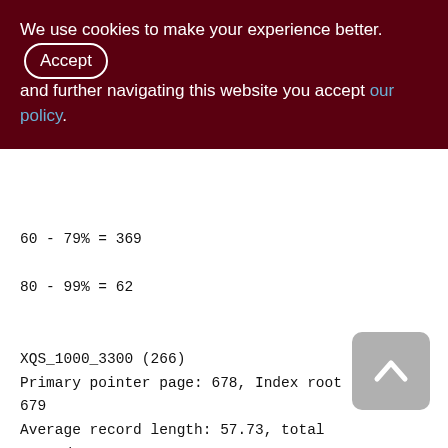We use cookies to make your experience better. By accepting and further navigating this website you accept our policy.
60 - 79% = 369
80 - 99% = 62

XQS_1000_3300 (266)
Primary pointer page: 678, Index root page: 679
Average record length: 57.73, total records: 961179
Average version length: 80.99, total versions: 278142, max versions: 1
Data pages: 14559, data page slots: 1,5,3, average fill: 83%
Fill distribution: